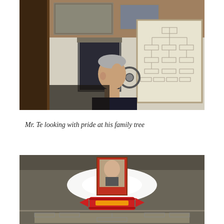[Figure (photo): An elderly man with gray hair, seen in profile, looking upward at a large framed family tree chart on a wall. The room has a dark wooden column in the foreground, photographs displayed on a shelf above, and a window with dark curtains. A gear wheel is visible near the wall.]
Mr. Te looking with pride at his family tree
[Figure (photo): A dimly lit room with a bright light source (possibly a projector or spotlight) illuminating a wall. A framed portrait of a person is mounted on the wall at the top center. Below the portrait is a decorative red and gold banner. At the bottom, there appears to be a large family tree or organizational chart displayed on the wall.]